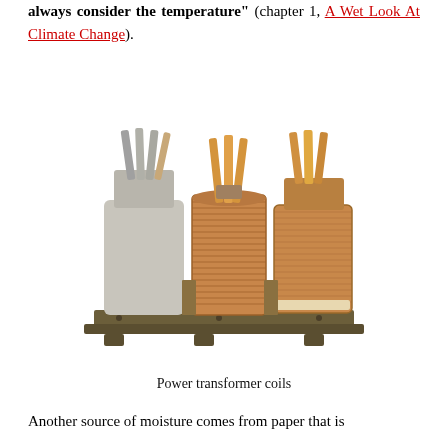always consider the temperature" (chapter 1, A Wet Look At Climate Change).
[Figure (photo): Photograph of three power transformer coils mounted on a metal base frame. The left coil is wrapped in grey paper/insulation, the center coil shows copper windings with horizontal fins/laminations, and the right coil is wrapped in brown tape/insulation. Copper conductors protrude from the tops of all three coils.]
Power transformer coils
Another source of moisture comes from paper that is